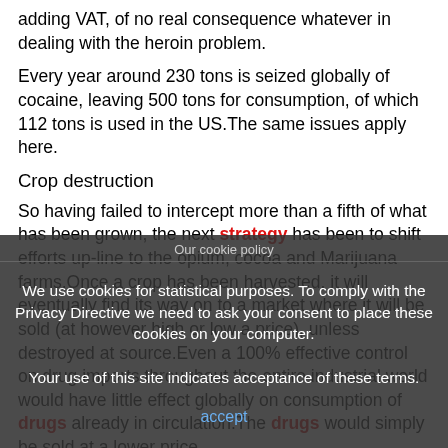adding VAT, of no real consequence whatever in dealing with the heroin problem.
Every year around 230 tons is seized globally of cocaine, leaving 500 tons for consumption, of which 112 tons is used in the US. The same issues apply here.
Crop destruction
So having failed to intercept more than a fifth of what has been grown, the next strategy has been to shift efforts up-line to the opium, cocoa and Marijuana farms. Once a crop has been harvested, it will eventually find its way on to a market where it will be sold (at however high or low a price), unless destroyed at source. Even a 100% effective control on drug imports throughout the entire industrial world would have little effect globally on consumption of drugs already in circulation. The drugs would simply be sold at a lower price in poorer nations where the huge and growing demand. It would however reduce the amount cultivated or manufactured of other activities.
The logic of crop destruction is compelling, but once again the reality is very disappointing, with some exceptions. Drug precursors are often grown in emerging nations in remote areas with difficult access for high-tech Western-style
Our cookie policy
We use cookies for statistical purposes. To comply with the Privacy Directive we need to ask your consent to place these cookies on your computer.
Your use of this site indicates acceptance of these terms.
accept